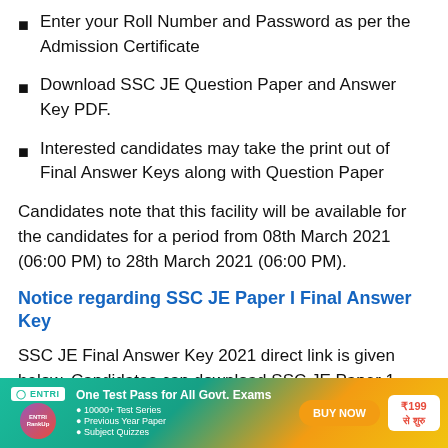Enter your Roll Number and Password as per the Admission Certificate
Download SSC JE Question Paper and Answer Key PDF.
Interested candidates may take the print out of Final Answer Keys along with Question Paper
Candidates note that this facility will be available for the candidates for a period from 08th March 2021 (06:00 PM) to 28th March 2021 (06:00 PM).
Notice regarding SSC JE Paper I Final Answer Key
SSC JE Final Answer Key 2021 direct link is given below. Candidates can download SSC JE Paper 1 Final Answer
[Figure (infographic): ENTRI advertisement banner: One Test Pass for All Govt. Exams. Features ENTRI RankUp logo, bullet points listing 10000+ Test Series, Previous Year Paper, Subject Quizzes, a BUY NOW button, and ₹199 से शुरु price badge.]